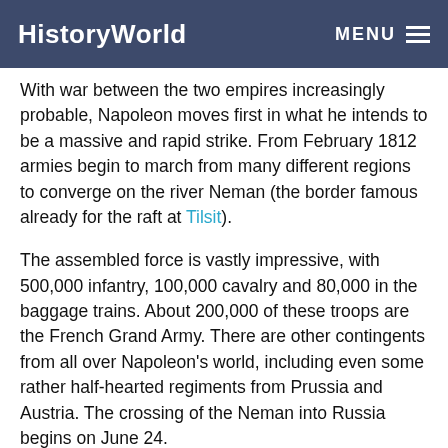HistoryWorld | MENU
With war between the two empires increasingly probable, Napoleon moves first in what he intends to be a massive and rapid strike. From February 1812 armies begin to march from many different regions to converge on the river Neman (the border famous already for the raft at Tilsit).
The assembled force is vastly impressive, with 500,000 infantry, 100,000 cavalry and 80,000 in the baggage trains. About 200,000 of these troops are the French Grand Army. There are other contingents from all over Napoleon's world, including even some rather half-hearted regiments from Prussia and Austria. The crossing of the Neman into Russia begins on June 24.
The confronting Russian armies are heavily outnumbered, so they withdraw - dragging the French ever deeper into